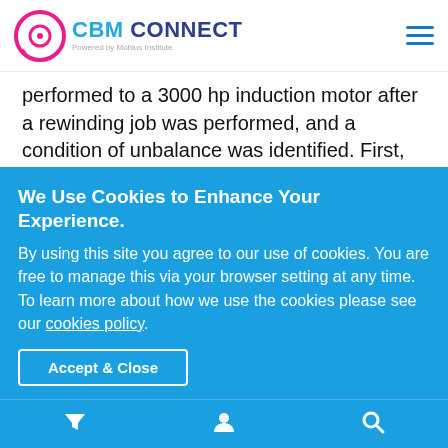CBM CONNECT - Powered by Mobius Institute
performed to a 3000 hp induction motor after a rewinding job was performed, and a condition of unbalance was identified. First, high overall readings indicate an abnormal condition, as shown below. Since the high amplitude occurs only in the vertical direction in both motor bearings, a resonance condition was also considered.
We Use Cookies to Enhance Your Experience.
By using this site you agree to our use of cookies. You are free to manage this via your browser setting at any time. To learn more about how we use the cookies please see our cookies policy.
Accept & Close
Navigation bar with filter, user, and search icons